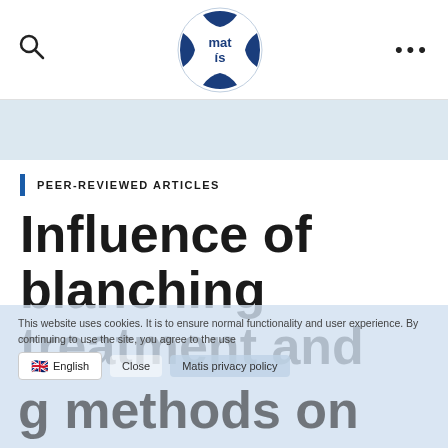[Figure (logo): Matís logo — circular badge with navy blue arc segments and 'matís' text in center, navy blue color scheme]
PEER-REVIEWED ARTICLES
Influence of blanching treatment and drying methods on
This website uses cookies. It is to ensure normal functionality and user experience. By continuing to use the site, you agree to the use
English  Close  Matis privacy policy